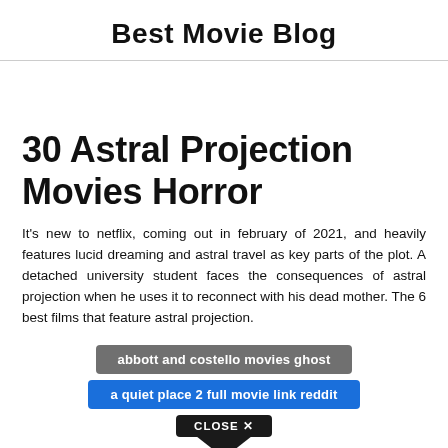Best Movie Blog
30 Astral Projection Movies Horror
It's new to netflix, coming out in february of 2021, and heavily features lucid dreaming and astral travel as key parts of the plot. A detached university student faces the consequences of astral projection when he uses it to reconnect with his dead mother. The 6 best films that feature astral projection.
abbott and costello movies ghost
a quiet place 2 full movie link reddit
CLOSE X